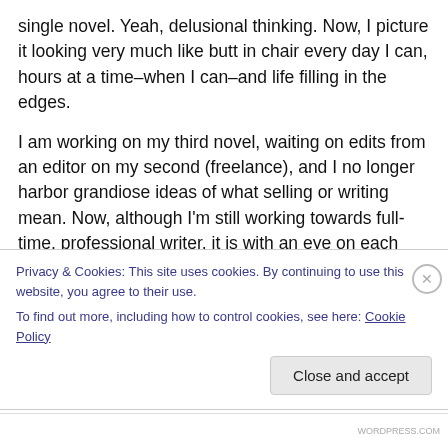single novel. Yeah, delusional thinking. Now, I picture it looking very much like butt in chair every day I can, hours at a time–when I can–and life filling in the edges.
I am working on my third novel, waiting on edits from an editor on my second (freelance), and I no longer harbor grandiose ideas of what selling or writing mean. Now, although I'm still working towards full-time, professional writer, it is with an eye on each page of my story. I no longer try to work out exactly what that will look like as a pie-in-the-sky. No matter what happens, I'll still sit in my
Privacy & Cookies: This site uses cookies. By continuing to use this website, you agree to their use.
To find out more, including how to control cookies, see here: Cookie Policy
Close and accept